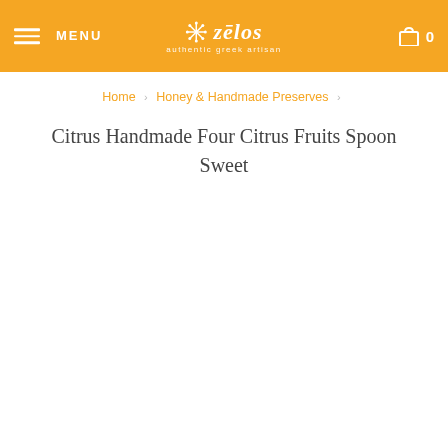MENU | zēlos authentic greek artisan | 0
Home > Honey & Handmade Preserves >
Citrus Handmade Four Citrus Fruits Spoon Sweet